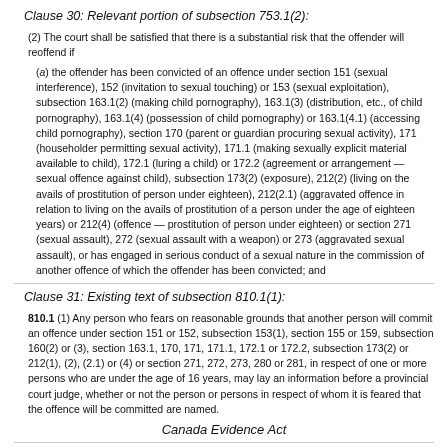Clause 30: Relevant portion of subsection 753.1(2):
(2) The court shall be satisfied that there is a substantial risk that the offender will reoffend if
(a) the offender has been convicted of an offence under section 151 (sexual interference), 152 (invitation to sexual touching) or 153 (sexual exploitation), subsection 163.1(2) (making child pornography), 163.1(3) (distribution, etc., of child pornography), 163.1(4) (possession of child pornography) or 163.1(4.1) (accessing child pornography), section 170 (parent or guardian procuring sexual activity), 171 (householder permitting sexual activity), 171.1 (making sexually explicit material available to child), 172.1 (luring a child) or 172.2 (agreement or arrangement — sexual offence against child), subsection 173(2) (exposure), 212(2) (living on the avails of prostitution of person under eighteen), 212(2.1) (aggravated offence in relation to living on the avails of prostitution of a person under the age of eighteen years) or 212(4) (offence — prostitution of person under eighteen) or section 271 (sexual assault), 272 (sexual assault with a weapon) or 273 (aggravated sexual assault), or has engaged in serious conduct of a sexual nature in the commission of another offence of which the offender has been convicted; and
Clause 31: Existing text of subsection 810.1(1):
810.1 (1) Any person who fears on reasonable grounds that another person will commit an offence under section 151 or 152, subsection 153(1), section 155 or 159, subsection 160(2) or (3), section 163.1, 170, 171, 171.1, 172.1 or 172.2, subsection 173(2) or 212(1), (2), (2.1) or (4) or section 271, 272, 273, 280 or 281, in respect of one or more persons who are under the age of 16 years, may lay an information before a provincial court judge, whether or not the person or persons in respect of whom it is feared that the offence will be committed are named.
Canada Evidence Act
Clause 34: Existing text of subsection 4(2):
(2) The wife or husband of a person charged with an offence under subsection